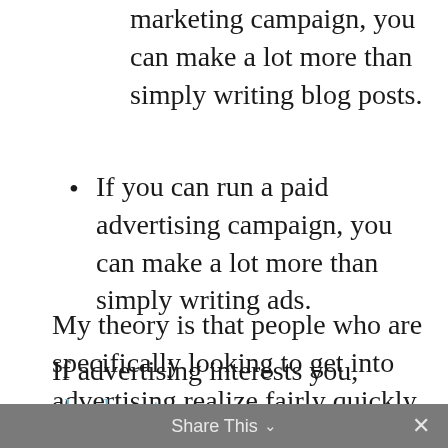marketing campaign, you can make a lot more than simply writing blog posts.
If you can run a paid advertising campaign, you can make a lot more than simply writing ads.
My theory is that people who are specifically looking to get into advertising realize fairly quickly that running the full campaigns is something they can learn and offer fairly quickly as a freelance service provider, and that has become the de facto career path on that end of the copywriting spectrum.
If advertising interests you, check out
Share This ∨  ✕